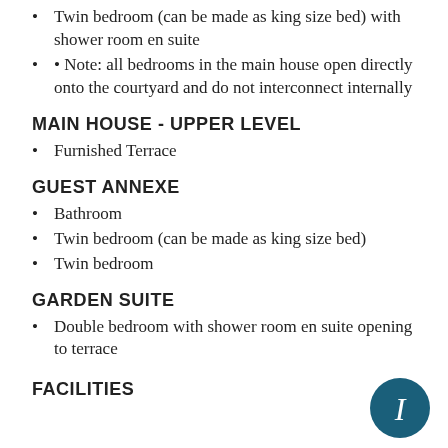Twin bedroom (can be made as king size bed) with shower room en suite
• Note: all bedrooms in the main house open directly onto the courtyard and do not interconnect internally
MAIN HOUSE - UPPER LEVEL
Furnished Terrace
GUEST ANNEXE
Bathroom
Twin bedroom (can be made as king size bed)
Twin bedroom
GARDEN SUITE
Double bedroom with shower room en suite opening to terrace
FACILITIES